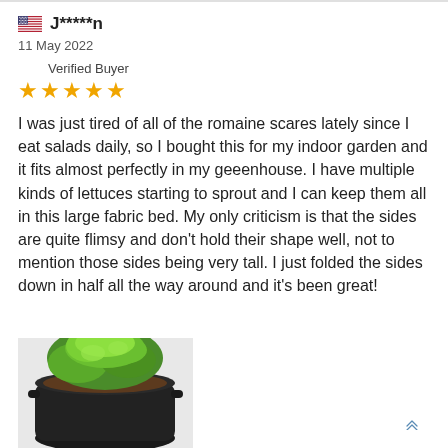J*****n
11 May 2022
Verified Buyer
★★★★★
I was just tired of all of the romaine scares lately since I eat salads daily, so I bought this for my indoor garden and it fits almost perfectly in my geeenhouse. I have multiple kinds of lettuces starting to sprout and I can keep them all in this large fabric bed. My only criticism is that the sides are quite flimsy and don't hold their shape well, not to mention those sides being very tall. I just folded the sides down in half all the way around and it's been great!
[Figure (photo): A green leafy plant growing in a black fabric grow bag/pot, photographed from above-side angle.]